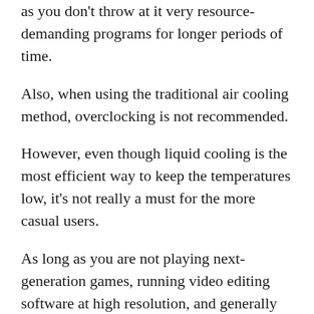as you don’t throw at it very resource-demanding programs for longer periods of time.
Also, when using the traditional air cooling method, overclocking is not recommended.
However, even though liquid cooling is the most efficient way to keep the temperatures low, it’s not really a must for the more casual users.
As long as you are not playing next-generation games, running video editing software at high resolution, and generally stay away from very demanding programs, air cooling should be good enough for your setup.